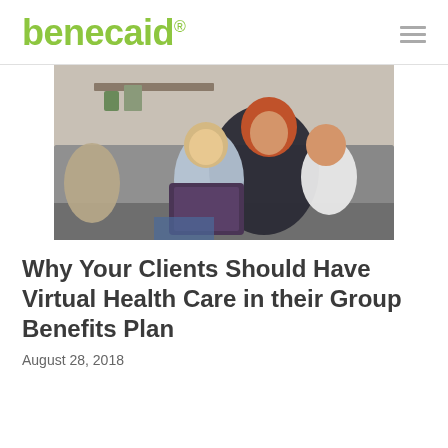benecaid®
[Figure (photo): A woman with red hair sitting on a couch holding a baby, while a toddler looks at a tablet device she is holding.]
Why Your Clients Should Have Virtual Health Care in their Group Benefits Plan
August 28, 2018